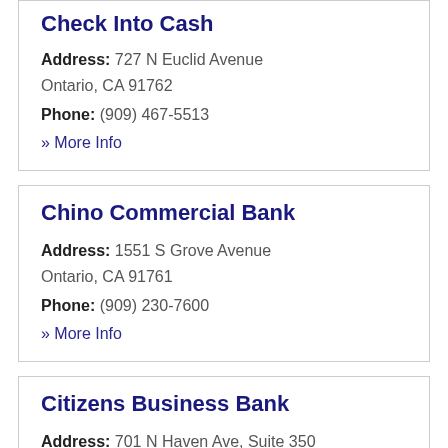Check Into Cash
Address: 727 N Euclid Avenue Ontario, CA 91762
Phone: (909) 467-5513
» More Info
Chino Commercial Bank
Address: 1551 S Grove Avenue Ontario, CA 91761
Phone: (909) 230-7600
» More Info
Citizens Business Bank
Address: 701 N Haven Ave, Suite 350